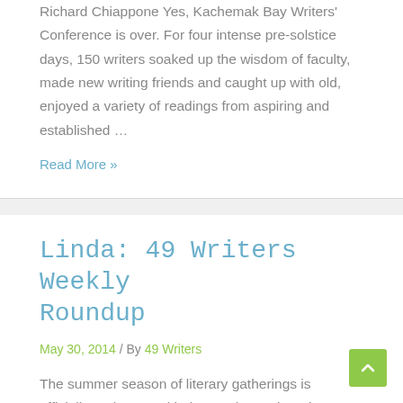Richard Chiappone Yes, Kachemak Bay Writers' Conference is over. For four intense pre-solstice days, 150 writers soaked up the wisdom of faculty, made new writing friends and caught up with old, enjoyed a variety of readings from aspiring and established …
Read More »
Linda: 49 Writers Weekly Roundup
May 30, 2014 / By 49 Writers
The summer season of literary gatherings is officially underway with the North Words Writers Symposium in beautiful Skagway, Alaska, May 28-31! We look forward reports from faculty and attendees but early posts on Facebook suggest something is being said all that …